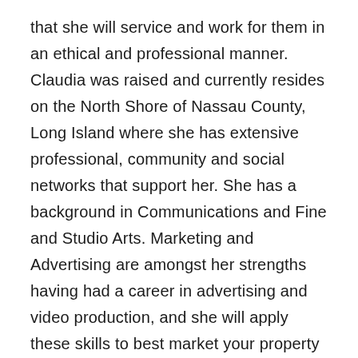that she will service and work for them in an ethical and professional manner. Claudia was raised and currently resides on the North Shore of Nassau County, Long Island where she has extensive professional, community and social networks that support her. She has a background in Communications and Fine and Studio Arts. Marketing and Advertising are amongst her strengths having had a career in advertising and video production, and she will apply these skills to best market your property via print, digital and social media advertising. As an artist and photographer, Claudia has a keen eye for design, color and space. All of these qualities make her a unique realtor. Claudia is an officer of two local associations. She understands her community and its